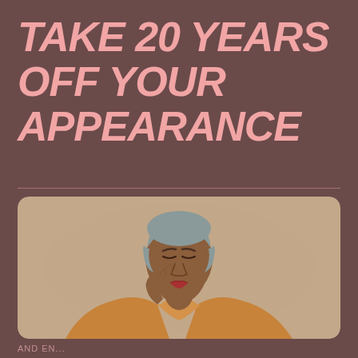TAKE 20 YEARS OFF YOUR APPEARANCE
[Figure (illustration): Flat illustration of an elderly woman with short grey hair, brown skin, and red lips, wearing an orange/gold outfit, holding her hand to her chin in a thoughtful pose, set against a beige/tan rounded rectangle background]
AND EN...